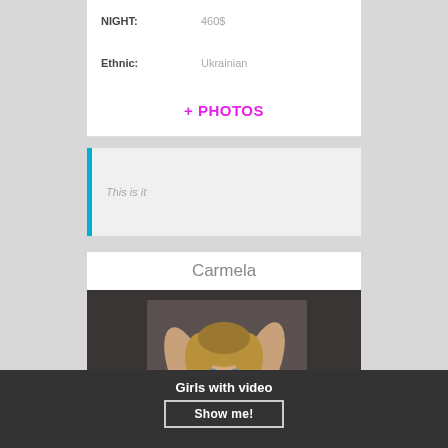NIGHT: 460$
Ethnic: Ukrainian
+ PHOTOS
This is it
Carmela
[Figure (photo): Young woman with blonde hair, arms raised behind her head, looking at camera, dark background]
Girls with video
Show me!